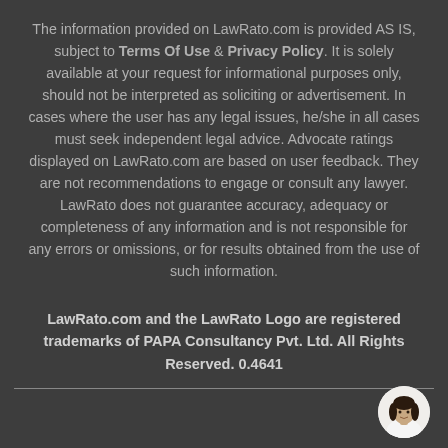The information provided on LawRato.com is provided AS IS, subject to Terms Of Use & Privacy Policy. It is solely available at your request for informational purposes only, should not be interpreted as soliciting or advertisement. In cases where the user has any legal issues, he/she in all cases must seek independent legal advice. Advocate ratings displayed on LawRato.com are based on user feedback. They are not recommendations to engage or consult any lawyer. LawRato does not guarantee accuracy, adequacy or completeness of any information and is not responsible for any errors or omissions, or for results obtained from the use of such information.
LawRato.com and the LawRato Logo are registered trademarks of PAPA Consultancy Pvt. Ltd. All Rights Reserved. 0.4641
[Figure (photo): Circular avatar photo of a woman with dark hair, smiling, positioned in the bottom-right corner]